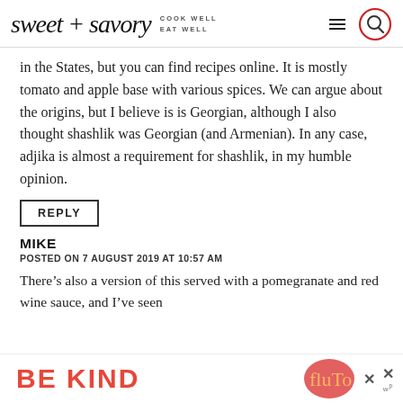sweet + savory — COOK WELL EAT WELL
in the States, but you can find recipes online. It is mostly tomato and apple base with various spices. We can argue about the origins, but I believe is is Georgian, although I also thought shashlik was Georgian (and Armenian). In any case, adjika is almost a requirement for shashlik, in my humble opinion.
REPLY
MIKE
POSTED ON 7 AUGUST 2019 AT 10:57 AM
There’s also a version of this served with a pomegranate and red wine sauce, and I’ve seen
[Figure (other): Advertisement banner reading BE KIND with decorative script and close button]